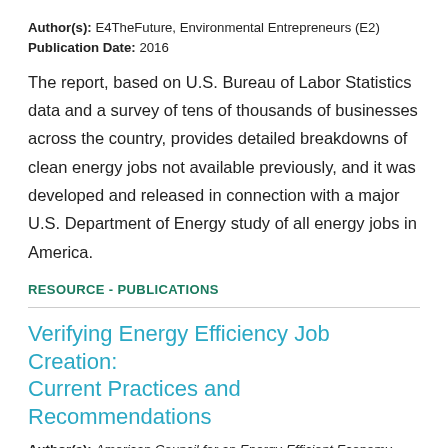Author(s): E4TheFuture, Environmental Entrepreneurs (E2)
Publication Date: 2016
The report, based on U.S. Bureau of Labor Statistics data and a survey of tens of thousands of businesses across the country, provides detailed breakdowns of clean energy jobs not available previously, and it was developed and released in connection with a major U.S. Department of Energy study of all energy jobs in America.
RESOURCE - PUBLICATIONS
Verifying Energy Efficiency Job Creation: Current Practices and Recommendations
Author(s): American Council for an Energy-Efficient Economy
Publication Date: 2015
Organizations or Programs:
New York State Energy Research and Development Authority (NYSERDA), Tennessee Valley Authority (TVA), Energy Right Solutions for Buisness, Energy Right Solutions for Industry, Efficiency Nova Scotia, National Grid Energy Efficiency Program, Energy Trust of Oregon, Energy Efficiency and Renewable Energy Programs, Enhabit